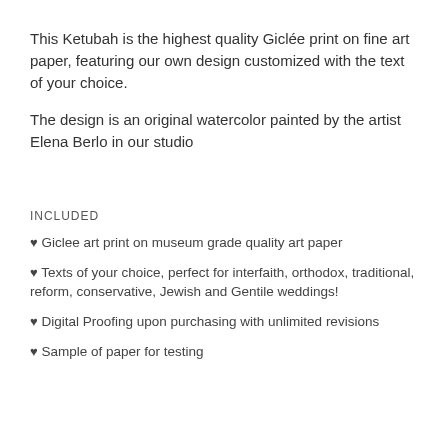This Ketubah is the highest quality Giclée print on fine art paper, featuring our own design customized with the text of your choice.
The design is an original watercolor painted by the artist Elena Berlo in our studio
INCLUDED
♥ Giclee art print on museum grade quality art paper
♥ Texts of your choice, perfect for interfaith, orthodox, traditional, reform, conservative, Jewish and Gentile weddings!
♥ Digital Proofing upon purchasing with unlimited revisions
♥ Sample of paper for testing